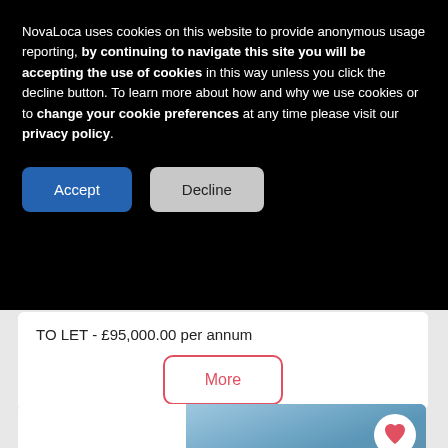NovaLoca uses cookies on this website to provide anonymous usage reporting, by continuing to navigate this site you will be accepting the use of cookies in this way unless you click the decline button. To learn more about how and why we use cookies or to change your cookie preferences at any time please visit our privacy policy.
Accept
Decline
TO LET - £95,000.00 per annum
More
[Figure (logo): Avison Young company logo with two horizontal lines above and below the text]
[Figure (photo): Exterior photo of a commercial/industrial building against a blue sky]